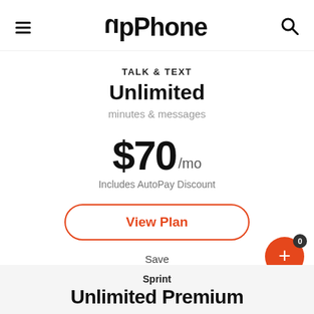UpPhone
TALK & TEXT
Unlimited
minutes & messages
$70 /mo
Includes AutoPay Discount
View Plan
Save
Compare
Sprint
Unlimited Premium